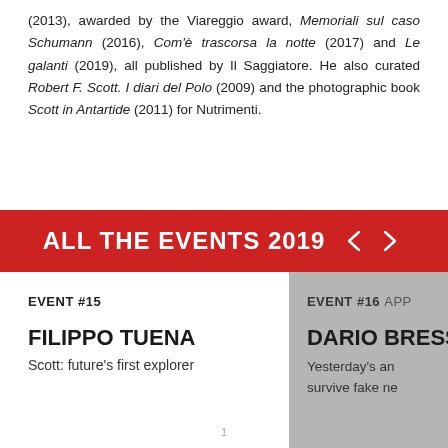(2013), awarded by the Viareggio award, Memoriali sul caso Schumann (2016), Com'è trascorsa la notte (2017) and Le galanti (2019), all published by Il Saggiatore. He also curated Robert F. Scott. I diari del Polo (2009) and the photographic book Scott in Antartide (2011) for Nutrimenti.
ALL THE EVENTS 2019
EVENT #15
FILIPPO TUENA
Scott: future's first explorer
EVENT #16 APP
DARIO BRESS
Yesterday's an survive fake ne